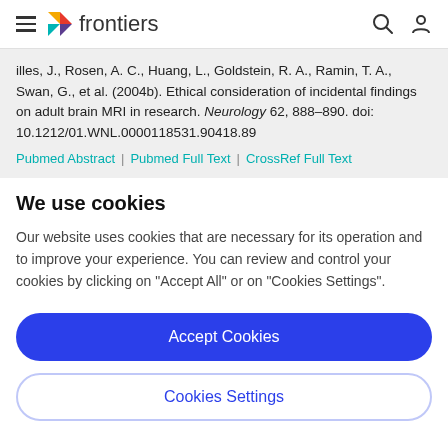frontiers
illes, J., Rosen, A. C., Huang, L., Goldstein, R. A., Ramin, T. A., Swan, G., et al. (2004b). Ethical consideration of incidental findings on adult brain MRI in research. Neurology 62, 888–890. doi: 10.1212/01.WNL.0000118531.90418.89
Pubmed Abstract | Pubmed Full Text | CrossRef Full Text
We use cookies
Our website uses cookies that are necessary for its operation and to improve your experience. You can review and control your cookies by clicking on "Accept All" or on "Cookies Settings".
Accept Cookies
Cookies Settings